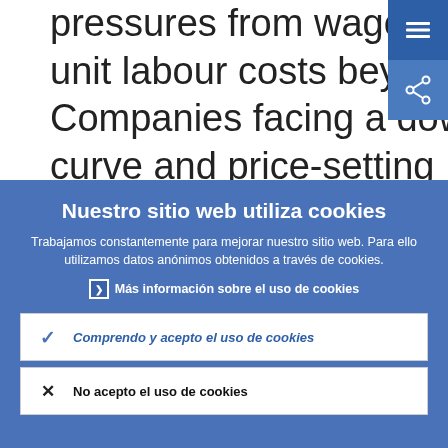pressures from wages and implies an increase in unit labour costs beyond that of wages. Companies facing a downward-sloping demand curve and price-setting
Nuestro sitio web utiliza cookies
Trabajamos constantemente para mejorar nuestro sitio web. Para ello utilizamos datos anónimos obtenidos a través de cookies.
Más información sobre el uso de cookies
Comprendo y acepto el uso de cookies
No acepto el uso de cookies